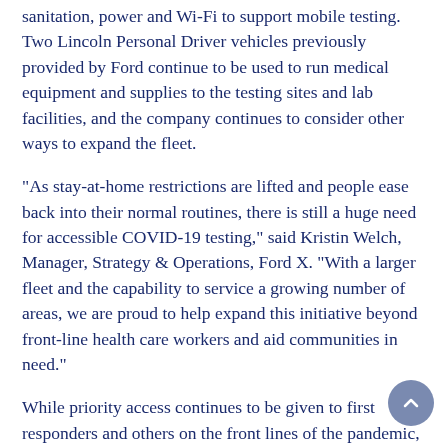sanitation, power and Wi-Fi to support mobile testing. Two Lincoln Personal Driver vehicles previously provided by Ford continue to be used to run medical equipment and supplies to the testing sites and lab facilities, and the company continues to consider other ways to expand the fleet.
“As stay-at-home restrictions are lifted and people ease back into their normal routines, there is still a huge need for accessible COVID-19 testing,” said Kristin Welch, Manager, Strategy & Operations, Ford X. “With a larger fleet and the capability to service a growing number of areas, we are proud to help expand this initiative beyond front-line health care workers and aid communities in need.”
While priority access continues to be given to first responders and others on the front lines of the pandemic, this effort is also providing testing